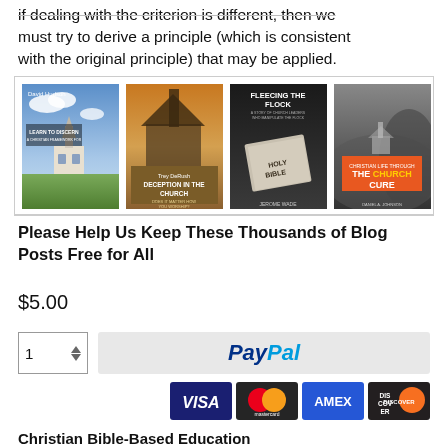…if dealing with the criterion is different, then we must try to derive a principle (which is consistent with the original principle) that may be applied.
[Figure (photo): Four book covers side by side: 1) A church on a plain with blue sky - title partially visible. 2) A stone church with orange sky - 'Trey DeRush, DECEPTION IN THE CHURCH, Does It Matter How You Worship?'. 3) Dark cover with Holy Bible - 'FLEECING THE FLOCK'. 4) Black and white church with orange banner - 'THE CHURCH CURE'.]
Please Help Us Keep These Thousands of Blog Posts Free for All
$5.00
[Figure (screenshot): PayPal payment button with quantity selector showing 1, and PayPal logo. Below are credit card logos: VISA, Mastercard, AMEX, DISCOVER.]
Christian Bible-Based Education